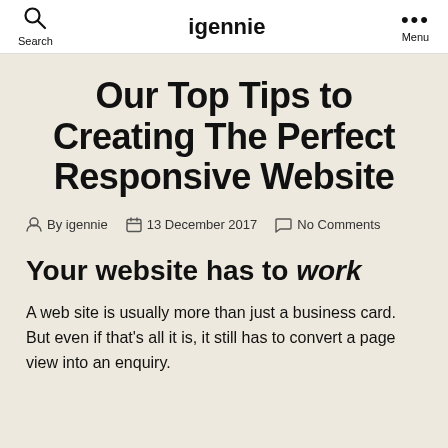Search | igennie | Menu
Our Top Tips to Creating The Perfect Responsive Website
By igennie   13 December 2017   No Comments
Your website has to work
A web site is usually more than just a business card. But even if that's all it is, it still has to convert a page view into an enquiry.